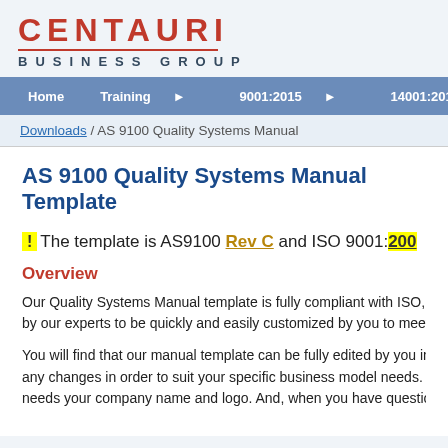[Figure (logo): Centauri Business Group logo with red CENTAURI text, underline, and BUSINESS GROUP subtitle]
Home | Training | 9001:2015 | 14001:2015 | 22000:2018
Downloads / AS 9100 Quality Systems Manual
AS 9100 Quality Systems Manual Template
! The template is AS9100 Rev C and ISO 9001:200...
Overview
Our Quality Systems Manual template is fully compliant with ISO, AS9... by our experts to be quickly and easily customized by you to meet yo...
You will find that our manual template can be fully edited by you in an... any changes in order to suit your specific business model needs. This... needs your company name and logo. And, when you have questions,...